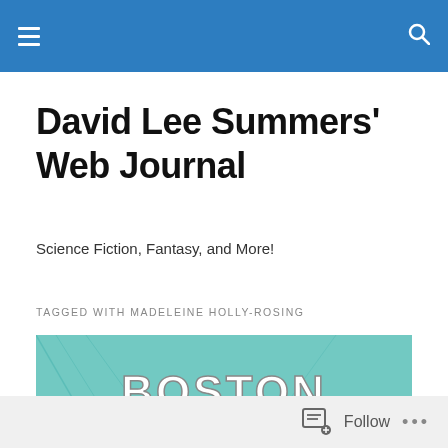David Lee Summers' Web Journal
Science Fiction, Fantasy, and More!
TAGGED WITH MADELEINE HOLLY-ROSING
[Figure (illustration): Book cover for Boston Metaphysical Society — teal/cyan toned illustration with stylized bold text reading 'BOSTON METAPHYSICAL SOCIETY' and a figure in the background]
Follow